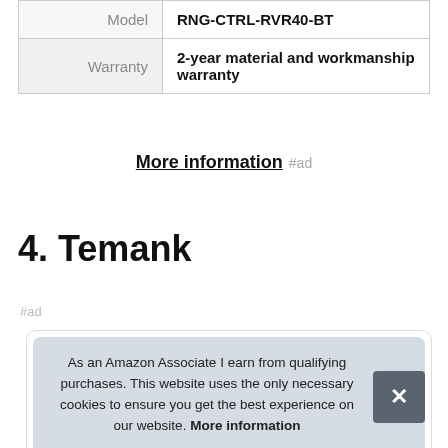| Model | RNG-CTRL-RVR40-BT |
| Warranty | 2-year material and workmanship warranty |
More information #ad
4. Temank
#ad
As an Amazon Associate I earn from qualifying purchases. This website uses the only necessary cookies to ensure you get the best experience on our website. More information